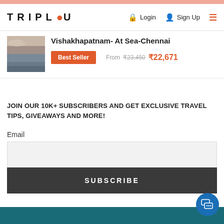TRIPLU — Login | Sign Up
Vishakhapatnam- At Sea-Chennai
Best Seller — From ₹23,450 ₹22,671
JOIN OUR 10K+ SUBSCRIBERS AND GET EXCLUSIVE TRAVEL TIPS, GIVEAWAYS AND MORE!
Email
SUBSCRIBE